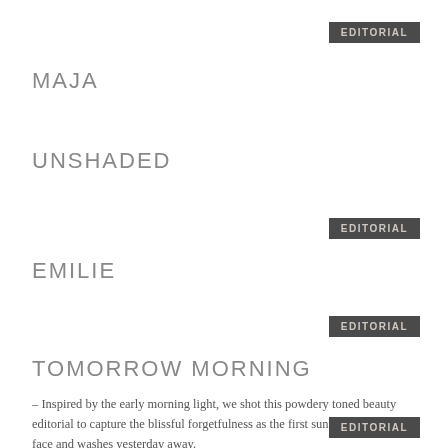EDITORIAL
MAJA
UNSHADED
EDITORIAL
EMILIE
EDITORIAL
TOMORROW MORNING
– Inspired by the early morning light, we shot this powdery toned beauty editorial to capture the blissful forgetfulness as the first sunlight hits your face and washes yesterday away.
EDITORIAL